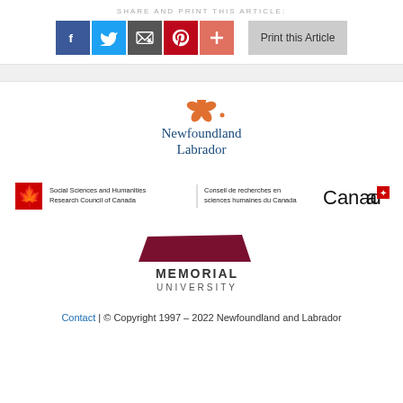SHARE AND PRINT THIS ARTICLE:
[Figure (screenshot): Social sharing buttons: Facebook (blue), Twitter (light blue), Email (dark grey), Pinterest (red), Plus/more (coral-red), and a grey 'Print this Article' button]
[Figure (logo): Newfoundland Labrador government logo with orange flower icon and blue serif text]
[Figure (logo): Social Sciences and Humanities Research Council of Canada / Conseil de recherches en sciences humaines du Canada logo with maple leaf and Canada wordmark]
[Figure (logo): Memorial University logo with dark red geometric shape and MEMORIAL UNIVERSITY text]
Contact | © Copyright 1997 – 2022 Newfoundland and Labrador